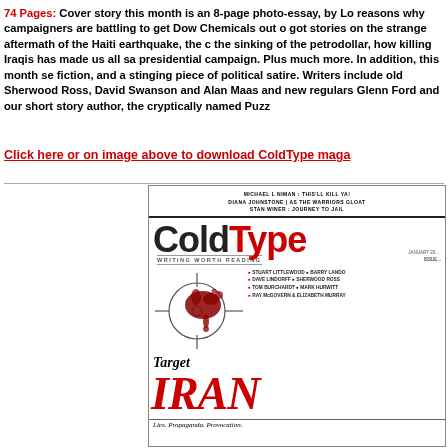74 Pages: Cover story this month is an 8-page photo-essay, by Lo reasons why campaigners are battling to get Dow Chemicals out got stories on the strange aftermath of the Haiti earthquake, the c the sinking of the petrodollar, how killing Iraqis has made us all sa presidential campaign. Plus much more. In addition, this month se fiction, and a stinging piece of political satire. Writers include old Sherwood Ross, David Swanson and Alan Maas and new regulars Glenn Ford and our short story author, the cryptically named Puzz
Click here or on image above to download ColdType maga
[Figure (illustration): ColdType magazine cover featuring 'Target Iran' headline with crosshair graphic and red blood splatter. Cover includes writer names: Michael L Niman, Diana Johnstone, Stan Winer, Stuart Littlewood, Barry Lando, Dave Lindorff, Sherwood Ross, Tom Burchardt, Mark Hurwitt, Ray McGovern & Elizabeth Murray. Subtitle: Lies. Propaganda. Provocation.]